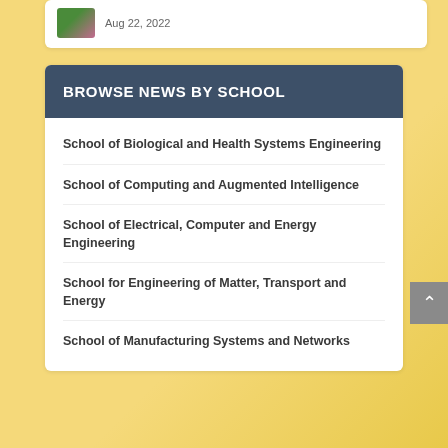Aug 22, 2022
BROWSE NEWS BY SCHOOL
School of Biological and Health Systems Engineering
School of Computing and Augmented Intelligence
School of Electrical, Computer and Energy Engineering
School for Engineering of Matter, Transport and Energy
School of Manufacturing Systems and Networks